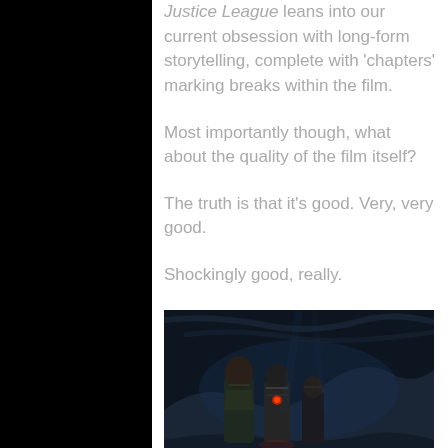Justice League leans into our current obsession with long-form storytelling, complete with 'chapters' marking breaks within the film.
Most importantly though, what about the quality of the film itself?
The truth is that it's good. Very, very good.
Shockingly good, really.
[Figure (photo): Dark cinematic still from Justice League showing multiple superhero characters including Aquaman and Cyborg standing in a dark, moody outdoor scene]